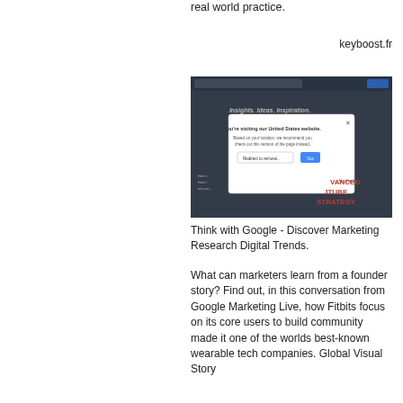real world practice.
keyboost.fr
[Figure (screenshot): Screenshot of Think with Google website showing 'Insights. Ideas. Inspiration.' header with a popup modal dialog saying 'You're visiting our United States website. Based on your location, we recommend you check out this version of the page instead.' with a dropdown and 'Go' button, overlaying content about YouTube strategy.]
Think with Google - Discover Marketing Research Digital Trends.
What can marketers learn from a founder story? Find out, in this conversation from Google Marketing Live, how Fitbits focus on its core users to build community made it one of the worlds best-known wearable tech companies. Global Visual Story